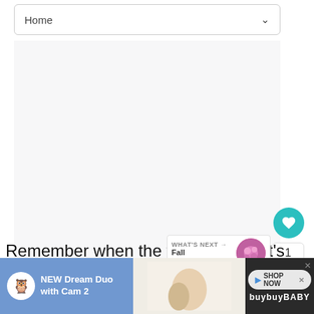[Figure (screenshot): Navigation bar with 'Home' label and dropdown chevron, followed by a large light-gray content area with a teal heart/like button showing count '1' and a share button on the right side]
Remember when the flower is cut, it's cut from its food supply. Once water is taken care of, feed is the resource that will run out next. Th...
[Figure (screenshot): WHAT'S NEXT banner with thumbnail of Fall Chrysanthemums]
[Figure (screenshot): Ad banner: NEW Dream Duo with Cam 2 by buybuyBABY with SHOP NOW button]